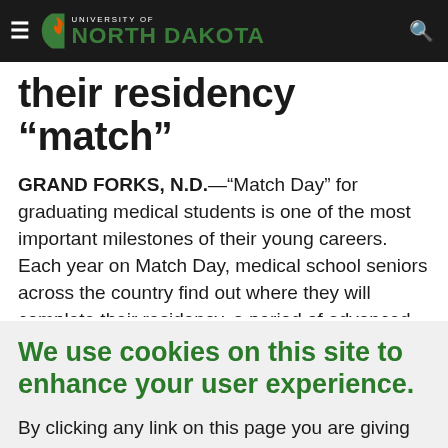University of North Dakota
their residency "match"
GRAND FORKS, N.D.—"Match Day" for graduating medical students is one of the most important milestones of their young careers. Each year on Match Day, medical school seniors across the country find out where they will complete their residency, a period of advanced intensive training in their chosen medical specialty
We use cookies on this site to enhance your user experience.
By clicking any link on this page you are giving your consent for us to set cookies, Privacy Information.